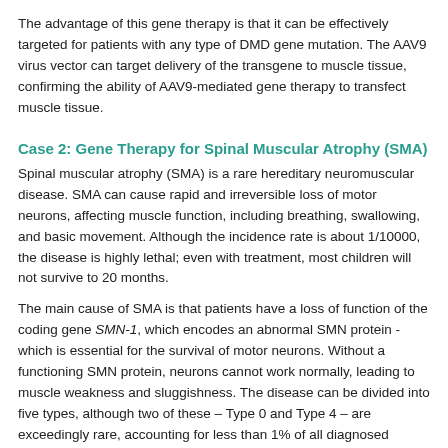The advantage of this gene therapy is that it can be effectively targeted for patients with any type of DMD gene mutation. The AAV9 virus vector can target delivery of the transgene to muscle tissue, confirming the ability of AAV9-mediated gene therapy to transfect muscle tissue.
Case 2: Gene Therapy for Spinal Muscular Atrophy (SMA)
Spinal muscular atrophy (SMA) is a rare hereditary neuromuscular disease. SMA can cause rapid and irreversible loss of motor neurons, affecting muscle function, including breathing, swallowing, and basic movement. Although the incidence rate is about 1/10000, the disease is highly lethal; even with treatment, most children will not survive to 20 months.
The main cause of SMA is that patients have a loss of function of the coding gene SMN-1, which encodes an abnormal SMN protein - which is essential for the survival of motor neurons. Without a functioning SMN protein, neurons cannot work normally, leading to muscle weakness and sluggishness. The disease can be divided into five types, although two of these – Type 0 and Type 4 – are exceedingly rare, accounting for less than 1% of all diagnosed cases. The three most prevalent types are: delayed-type SMA-2, SMA-3, and the most common SMA-1, which accounts for about 60% of all cases.
Zolgensma (onasemnogene abepalvovec) was approved and became the